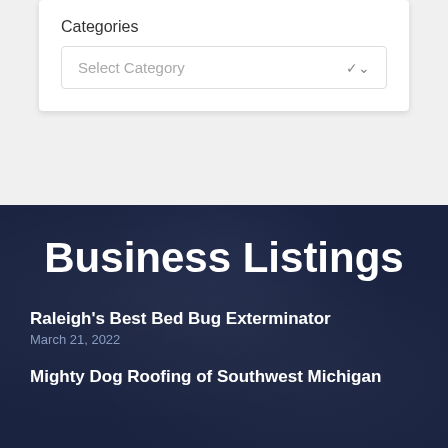Categories
Select Category
Business Listings
Raleigh's Best Bed Bug Exterminator
March 21, 2022
Mighty Dog Roofing of Southwest Michigan